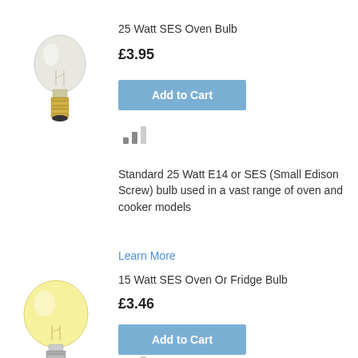[Figure (photo): Small clear glass oven bulb with brass/gold screw base (E14/SES), tubular shape]
25 Watt SES Oven Bulb
£3.95
[Figure (other): Add to Cart button (blue/steel blue background, white text)]
[Figure (other): Bar chart signal icon]
Standard 25 Watt E14 or SES (Small Edison Screw) bulb used in a vast range of oven and cooker models
Learn More
15 Watt SES Oven Or Fridge Bulb
£3.46
[Figure (other): Add to Cart button (blue/steel blue background, white text)]
[Figure (other): Bar chart signal icon]
[Figure (photo): Small warm-white glass oven/fridge bulb with silver/chrome screw base (E14/SES), slightly larger tubular shape with yellowish tint]